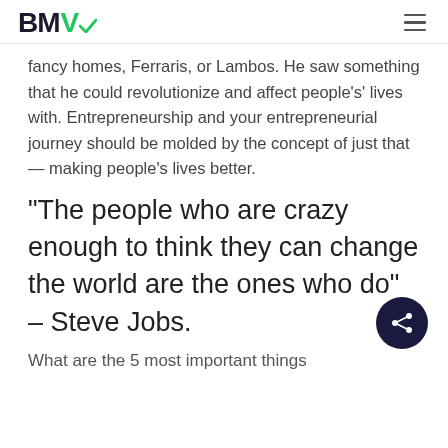BMV
fancy homes, Ferraris, or Lambos. He saw something that he could revolutionize and affect people's' lives with. Entrepreneurship and your entrepreneurial journey should be molded by the concept of just that — making people's lives better.
“The people who are crazy enough to think they can change the world are the ones who do” – Steve Jobs.
What are the 5 most important things